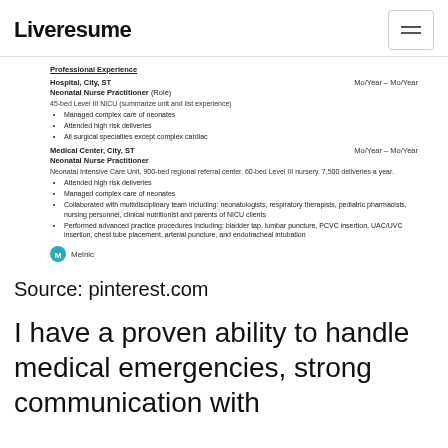Liveresume
Professional Experience
Hospital, City, ST — Mo/Year – Mo/Year
Neonatal Nurse Practitioner (Role)
45-bed Level III NICU (summarize unit and list experience)
Managed complex care of neonates
Attended high risk deliveries
All surgical specialties except complex cardiac
Medical Center, City, ST — Mo/Year – Mo/Year
Neonatal Nurse Practitioner
Neonatal Intensive Care Unit, 900-bed regional referral center. 60-bed Level III nursery. 7,500 deliveries a year.
Attended high risk deliveries
Managed complex care of neonates
Collaborated with multidisciplinary team including: neonatologists, respiratory therapists, pediatric pharmacists, nursing personnel, clinical nutritionist and parents of NICU clients
Performed advanced practice procedures including: bladder tap, lumbar puncture, PCVC insertion, UAC/UVC insertion, chest tube placement, arterial puncture, and endotracheal intubation
Melnic
Source: pinterest.com
I have a proven ability to handle medical emergencies, strong communication with